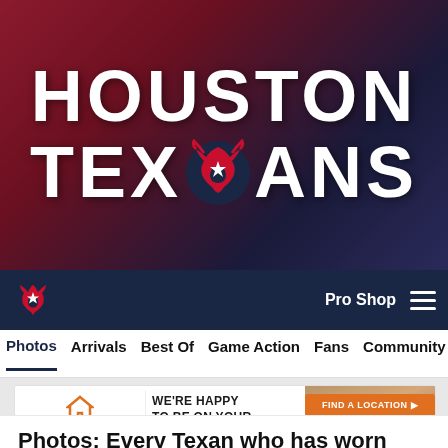[Figure (photo): Houston Texans website hero banner with team name in large white uppercase letters and team bull logo, dark red and navy background]
Houston Texans navigation bar with Pro Shop link and hamburger menu
Photos  Arrivals  Best Of  Game Action  Fans  Community
[Figure (photo): Ashley HomeStore advertisement banner: 'WE'RE HAPPY TO BE ON YOUR HOME TEAM.' with FIND A LOCATION button and photo of smiling couple]
Photos: Every Texan who has worn #55
Check out photos of all the Houston Texans players who have worn jersey